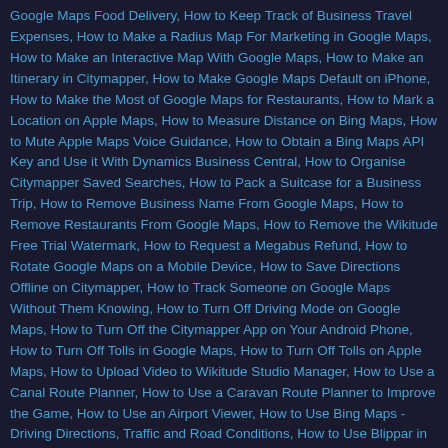Google Maps Food Delivery, How to Keep Track of Business Travel Expenses, How to Make a Radius Map For Marketing in Google Maps, How to Make an Interactive Map With Google Maps, How to Make an Itinerary in Citymapper, How to Make Google Maps Default on iPhone, How to Make the Most of Google Maps for Restaurants, How to Mark a Location on Apple Maps, How to Measure Distance on Bing Maps, How to Mute Apple Maps Voice Guidance, How to Obtain a Bing Maps API Key and Use it With Dynamics Business Central, How to Organise Citymapper Saved Searches, How to Pack a Suitcase for a Business Trip, How to Remove Business Name From Google Maps, How to Remove Restaurants From Google Maps, How to Remove the Wikitude Free Trial Watermark, How to Request a Megabus Refund, How to Rotate Google Maps on a Mobile Device, How to Save Directions Offline on Citymapper, How to Track Someone on Google Maps Without Them Knowing, How to Turn Off Driving Mode on Google Maps, How to Turn Off the Citymapper App on Your Android Phone, How to Turn Off Tolls in Google Maps, How to Turn Off Tolls on Apple Maps, How to Upload Video to Wikitude Studio Manager, How to Use a Canal Route Planner, How to Use a Caravan Route Planner to Improve the Game, How to Use an Airport Viewer, How to Use Bing Maps - Driving Directions, Traffic and Road Conditions, How to Use Blippar in a Few Minutes?, How to Use Citymapper Offline, How to